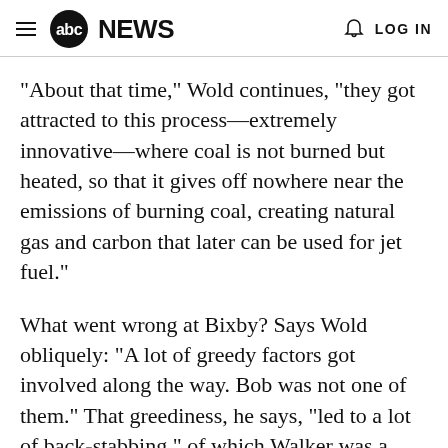abc NEWS  LOG IN
"About that time," Wold continues, "they got attracted to this process—extremely innovative—where coal is not burned but heated, so that it gives off nowhere near the emissions of burning coal, creating natural gas and carbon that later can be used for jet fuel."
What went wrong at Bixby? Says Wold obliquely: "A lot of greedy factors got involved along the way. Bob was not one of them." That greediness, he says, "led to a lot of back-stabbing," of which Walker was a casualty.